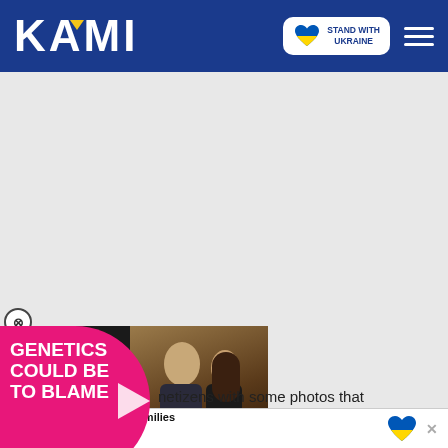KAMI — Stand With Ukraine
[Figure (screenshot): KAMI news website header with logo, Stand With Ukraine badge, and hamburger menu on dark blue background]
[Figure (photo): Advertisement overlay: pink blob with text GENETICS COULD BE TO BLAME, couple photo in background, play button]
netizens with some photos that
[Figure (photo): Partial photo of people at bottom left]
Help Protect Ukrainian Families DONATE NOW